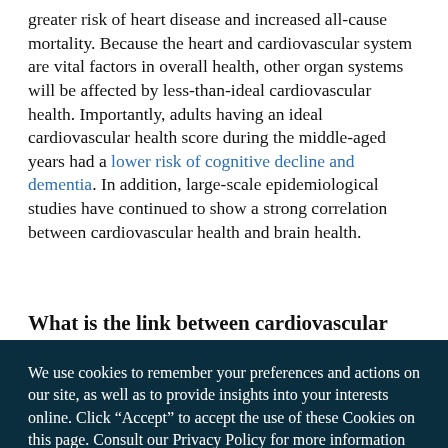greater risk of heart disease and increased all-cause mortality. Because the heart and cardiovascular system are vital factors in overall health, other organ systems will be affected by less-than-ideal cardiovascular health. Importantly, adults having an ideal cardiovascular health score during the middle-aged years had a lower risk of cognitive decline and dementia. In addition, large-scale epidemiological studies have continued to show a strong correlation between cardiovascular health and brain health.
What is the link between cardiovascular
We use cookies to remember your preferences and actions on our site, as well as to provide insights into your interests online. Click “Accept” to accept the use of these Cookies on this page. Consult our Privacy Policy for more information about how we manage information about you.